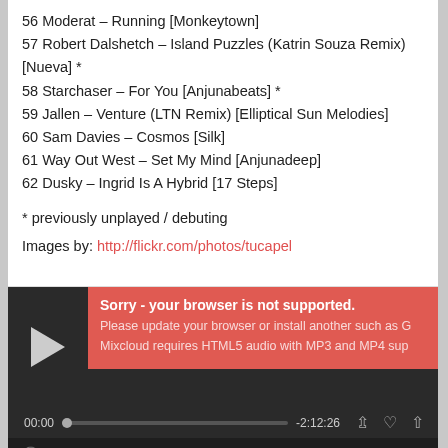56 Moderat – Running [Monkeytown]
57 Robert Dalshetch – Island Puzzles (Katrin Souza Remix) [Nueva] *
58 Starchaser – For You [Anjunabeats] *
59 Jallen – Venture (LTN Remix) [Elliptical Sun Melodies]
60 Sam Davies – Cosmos [Silk]
61 Way Out West – Set My Mind [Anjunadeep]
62 Dusky – Ingrid Is A Hybrid [17 Steps]
* previously unplayed / debuting
Images by: http://flickr.com/photos/tucapel
[Figure (screenshot): Mixcloud audio player showing error: Sorry - your browser is not supported. Please update your browser or install another such as G... Mixcloud requires HTML5 audio with MP3 and MP4 sup... Time 00:00, duration -2:12:26, stats: 296 plays, 15 likes, 5 reposts]